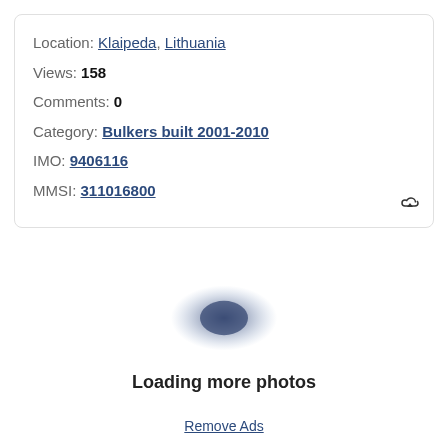Location: Klaipeda, Lithuania
Views: 158
Comments: 0
Category: Bulkers built 2001-2010
IMO: 9406116
MMSI: 311016800
[Figure (infographic): Loading spinner shown as a blurred dark blue elliptical blob/shadow]
Loading more photos
Remove Ads